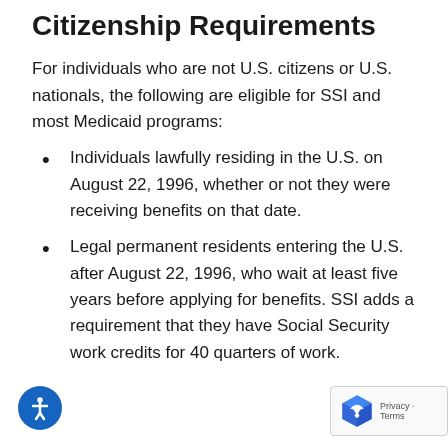Citizenship Requirements
For individuals who are not U.S. citizens or U.S. nationals, the following are eligible for SSI and most Medicaid programs:
Individuals lawfully residing in the U.S. on August 22, 1996, whether or not they were receiving benefits on that date.
Legal permanent residents entering the U.S. after August 22, 1996, who wait at least five years before applying for benefits. SSI adds a requirement that they have Social Security work credits for 40 quarters of work.